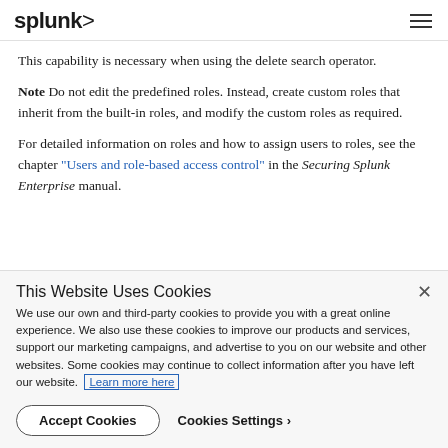splunk>
This capability is necessary when using the delete search operator.
Note Do not edit the predefined roles. Instead, create custom roles that inherit from the built-in roles, and modify the custom roles as required.
For detailed information on roles and how to assign users to roles, see the chapter "Users and role-based access control" in the Securing Splunk Enterprise manual.
This Website Uses Cookies
We use our own and third-party cookies to provide you with a great online experience. We also use these cookies to improve our products and services, support our marketing campaigns, and advertise to you on our website and other websites. Some cookies may continue to collect information after you have left our website. Learn more here
Accept Cookies   Cookies Settings ›